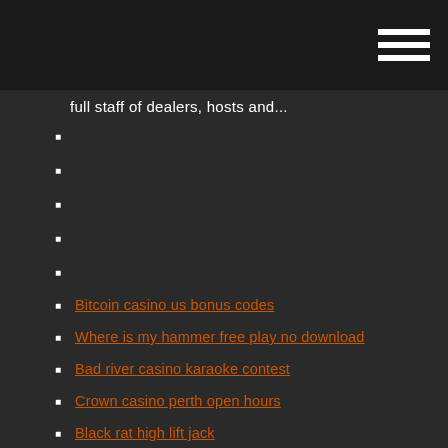full staff of dealers, hosts and...
Bitcoin casino us bonus codes
Where is my hammer free play no download
Bad river casino karaoke contest
Crown casino perth open hours
Black rat high lift jack
How to hack slot machines gaminator
Diamond gambling for random equipment ragnarok
Poker odds calculator full tilt foe...